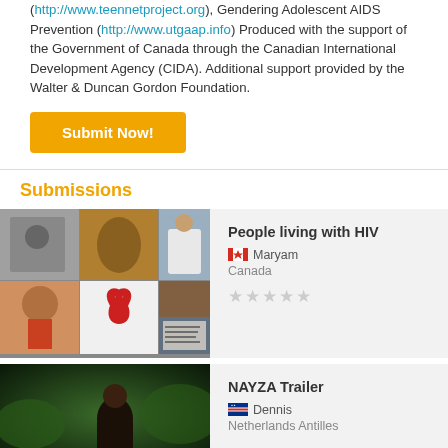(http://www.teennetproject.org), Gendering Adolescent AIDS Prevention (http://www.utgaap.info) Produced with the support of the Government of Canada through the Canadian International Development Agency (CIDA). Additional support provided by the Walter & Duncan Gordon Foundation.
Submit Now!
Submissions
[Figure (photo): Collage of photos related to HIV/AIDS awareness — black and white photo, gold jewelry, red AIDS ribbon, smiling man in suit, man in white t-shirt, crowd protest sign]
People living with HIV
Maryam
Canada
[Figure (photo): Dark photo of a person outdoors with green foliage background]
NAYZA Trailer
Dennis
Netherlands Antilles